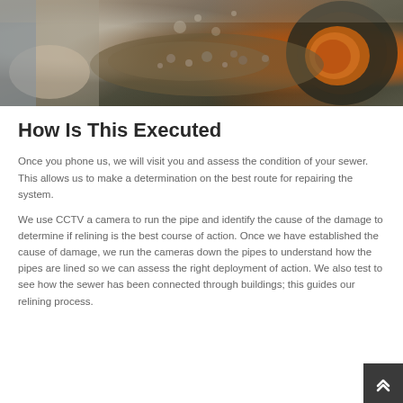[Figure (photo): Close-up photo of a pipe or drain being cleaned or inspected, showing debris, mud, and an orange pipe tool/liner visible inside a large grey concrete or clay pipe opening, with a person's hands visible on the left side.]
How Is This Executed
Once you phone us, we will visit you and assess the condition of your sewer. This allows us to make a determination on the best route for repairing the system.
We use CCTV a camera to run the pipe and identify the cause of the damage to determine if relining is the best course of action. Once we have established the cause of damage, we run the cameras down the pipes to understand how the pipes are lined so we can assess the right deployment of action. We also test to see how the sewer has been connected through buildings; this guides our relining process.